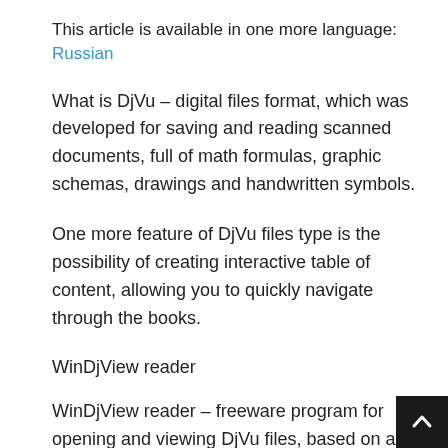This article is available in one more language: Russian
What is DjVu – digital files format, which was developed for saving and reading scanned documents, full of math formulas, graphic schemas, drawings and handwritten symbols.
One more feature of DjVu files type is the possibility of creating interactive table of content, allowing you to quickly navigate through the books.
WinDjView reader
WinDjView reader – freeware program for opening and viewing DjVu files, based on an open source library DjVuLibre, compatible with most common Windows versions – Windows XP, Vista, 7 and 8. On my opinion, WinDjView is one of the best freeware programs for